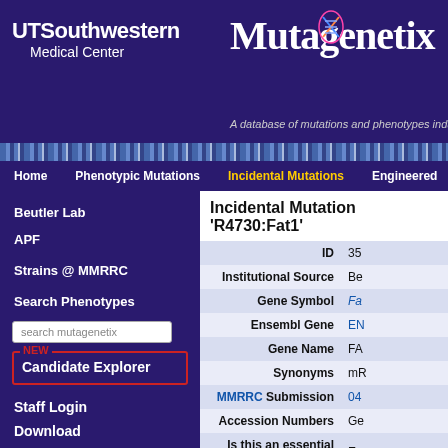[Figure (screenshot): UT Southwestern Medical Center logo and Mutagenetix banner header with DNA graphic]
A database of mutations and phenotypes induced b...
Home   Phenotypic Mutations   Incidental Mutations   Engineered
Beutler Lab
APF
Strains @ MMRRC
Search Phenotypes
search mutagenetix
NEW
Candidate Explorer
Staff Login
Download
Incidental Mutation 'R4730:Fat1'
| Field | Value |
| --- | --- |
| ID | 35 |
| Institutional Source | Be... |
| Gene Symbol | Fa... |
| Ensembl Gene | EN... |
| Gene Name | FA... |
| Synonyms | mR... |
| MMRRC Submission | 04... |
| Accession Numbers | Ge... |
| Is this an essential gene? | Es... |
| Stock // |  |